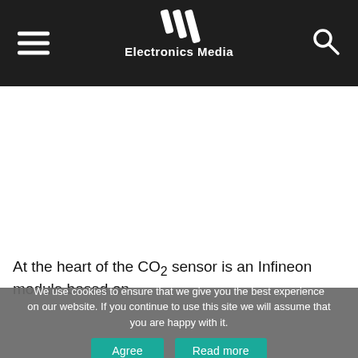Electronics Media
At the heart of the CO₂ sensor is an Infineon module based on
We use cookies to ensure that we give you the best experience on our website. If you continue to use this site we will assume that you are happy with it.